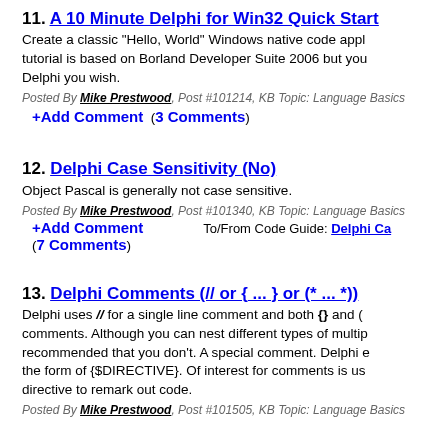11. A 10 Minute Delphi for Win32 Quick Start
Create a classic "Hello, World" Windows native code appl... tutorial is based on Borland Developer Suite 2006 but you... Delphi you wish.
Posted By Mike Prestwood, Post #101214, KB Topic: Language Basics
+Add Comment (3 Comments)
12. Delphi Case Sensitivity (No)
Object Pascal is generally not case sensitive.
Posted By Mike Prestwood, Post #101340, KB Topic: Language Basics
+Add Comment (7 Comments)
To/From Code Guide: Delphi Ca...
13. Delphi Comments (// or { ... } or (* ... *))
Delphi uses // for a single line comment and both {} and (... comments. Although you can nest different types of multip... recommended that you don't. A special comment. Delphi e... the form of {$DIRECTIVE}. Of interest for comments is us... directive to remark out code.
Posted By Mike Prestwood, Post #101505, KB Topic: Language Basics